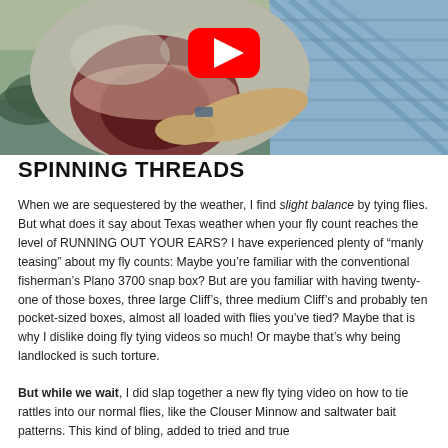[Figure (photo): A man holding a large fish (catfish or similar) close-up to the camera showing its open mouth, with a YouTube play button overlay. The man is wearing a blue plaid shirt. Water visible in background.]
SPINNING THREADS
When we are sequestered by the weather, I find slight balance by tying flies. But what does it say about Texas weather when your fly count reaches the level of RUNNING OUT YOUR EARS? I have experienced plenty of “manly teasing” about my fly counts: Maybe you’re familiar with the conventional fisherman’s Plano 3700 snap box? But are you familiar with having twenty-one of those boxes, three large Cliff’s, three medium Cliff’s and probably ten pocket-sized boxes, almost all loaded with flies you’ve tied? Maybe that is why I dislike doing fly tying videos so much! Or maybe that’s why being landlocked is such torture.
But while we wait, I did slap together a new fly tying video on how to tie rattles into our normal flies, like the Clouser Minnow and saltwater bait patterns. This kind of bling, added to tried and true